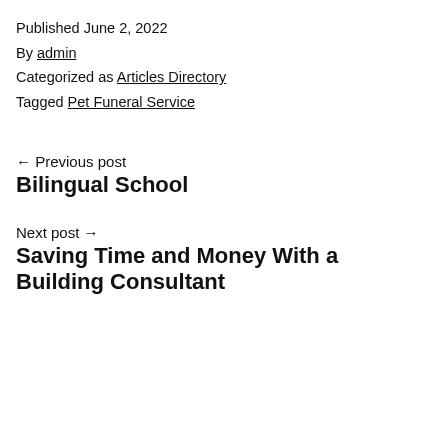Published June 2, 2022
By admin
Categorized as Articles Directory
Tagged Pet Funeral Service
← Previous post
Bilingual School
Next post →
Saving Time and Money With a Building Consultant